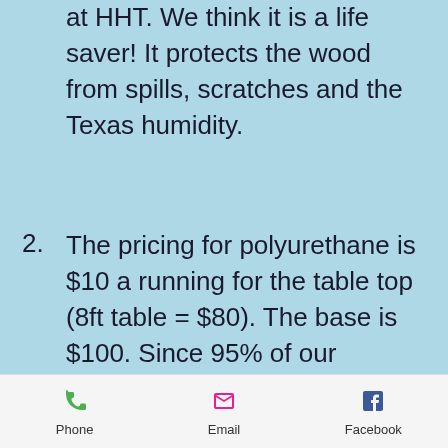at HHT. We think it is a life saver! It protects the wood from spills, scratches and the Texas humidity.
2. The pricing for polyurethane is $10 a running for the table top (8ft table = $80). The base is $100. Since 95% of our customers only want the top done, that is all that is covered in the finish option tab. If you would like it on the entire piece just call
Phone | Email | Facebook